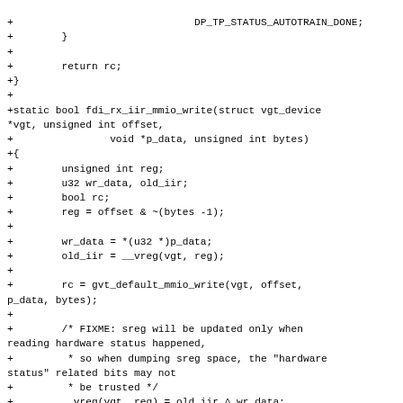code diff fragment showing fdi_rx_iir_mmio_write function and related defines